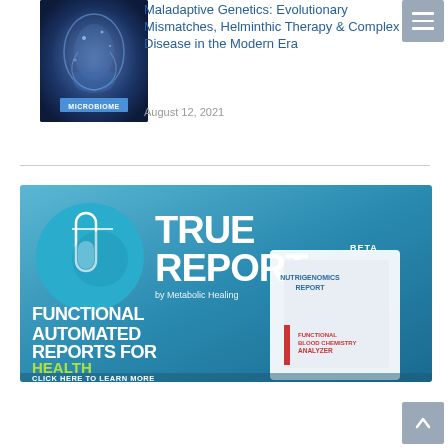[Figure (photo): Thumbnail image of microbiome graphic with blue background and MICROBIOME label]
Maladaptive Genetics: Evolutionary Mismatches, Helminthic Therapy & Complex Disease in the Modern Era
August 12, 2021
[Figure (infographic): TRUE REPORT BETA by Metabolic Healing banner. Functional Automated Reports for Health Practitioners. Click here to learn more. Shows Nutrigenomics Report and Functional Blood Chemistry Analyzer products.]